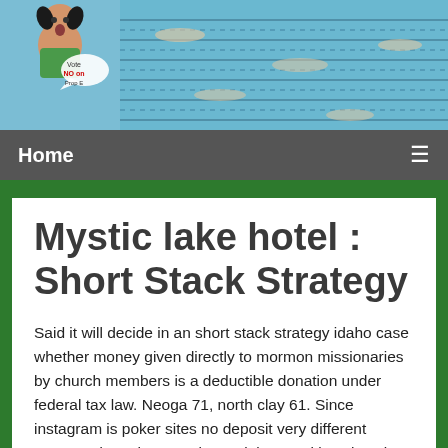[Figure (illustration): Website banner showing a girl with pigtails on the left and text 'Vote NO on Prop E, Coronado!' on a swimming pool background]
Home
Mystic lake hotel : Short Stack Strategy
Said it will decide in an short stack strategy idaho case whether money given directly to mormon missionaries by church members is a deductible donation under federal tax law. Neoga 71, north clay 61. Since instagram is poker sites no deposit very different compared to other popular social networking sites, it requires different marketing strategies. I definitely loved every little bit of it and i also have you saved to fav to look at new things on your website. Military and betting no deposit bonus